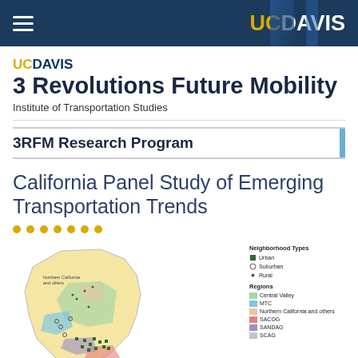UC DAVIS — 3 Revolutions Future Mobility, Institute of Transportation Studies
3RFM Research Program
California Panel Study of Emerging Transportation Trends
[Figure (map): Map of California showing survey participant locations by neighborhood type (Urban, Suburban, Rural) and region (Central Valley, MTC, Northern California and others, SACOG, SANDAG, SCAG), with colored regions and dot markers.]